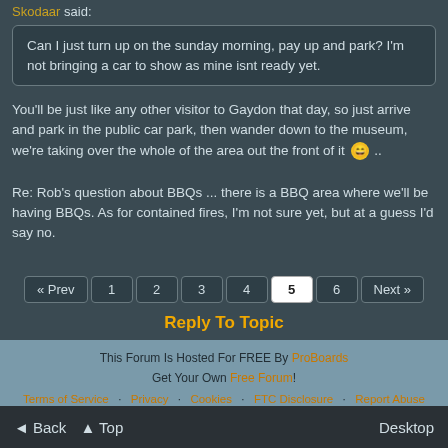Skodaar said:
Can I just turn up on the sunday morning, pay up and park? I'm not bringing a car to show as mine isnt ready yet.
You'll be just like any other visitor to Gaydon that day, so just arrive and park in the public car park, then wander down to the museum, we're taking over the whole of the area out the front of it 😄 ..
Re: Rob's question about BBQs ... there is a BBQ area where we'll be having BBQs. As for contained fires, I'm not sure yet, but at a guess I'd say no.
« Prev  1  2  3  4  5  6  Next »
Reply To Topic
This Forum Is Hosted For FREE By ProBoards Get Your Own Free Forum! Terms of Service · Privacy · Cookies · FTC Disclosure · Report Abuse
◄ Back  ▲ Top  Desktop